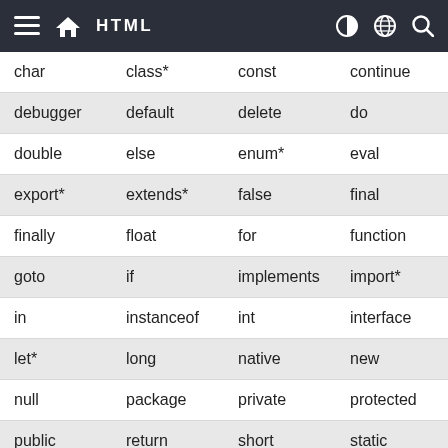HTML
| char | class* | const | continue |
| debugger | default | delete | do |
| double | else | enum* | eval |
| export* | extends* | false | final |
| finally | float | for | function |
| goto | if | implements | import* |
| in | instanceof | int | interface |
| let* | long | native | new |
| null | package | private | protected |
| public | return | short | static |